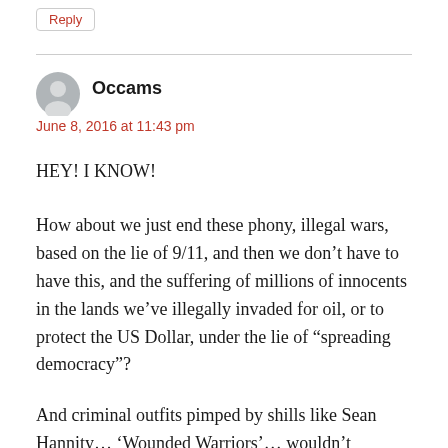Reply
Occams
June 8, 2016 at 11:43 pm
HEY! I KNOW!
How about we just end these phony, illegal wars, based on the lie of 9/11, and then we don’t have to have this, and the suffering of millions of innocents in the lands we’ve illegally invaded for oil, or to protect the US Dollar, under the lie of “spreading democracy”?
And criminal outfits pimped by shills like Sean Hannity… ‘Wounded Warriors’… wouldn’t